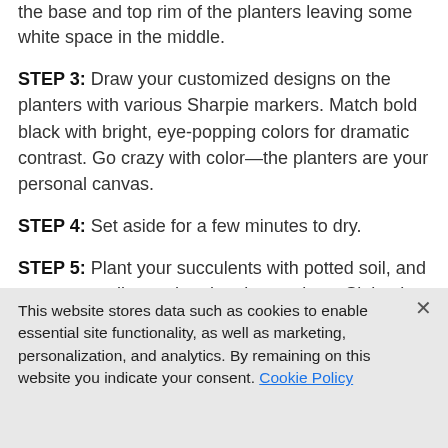the base and top rim of the planters leaving some white space in the middle.
STEP 3: Draw your customized designs on the planters with various Sharpie markers. Match bold black with bright, eye-popping colors for dramatic contrast. Go crazy with color—the planters are your personal canvas.
STEP 4: Set aside for a few minutes to dry.
STEP 5: Plant your succulents with potted soil, and water according to the plant instructions. Sit back and
This website stores data such as cookies to enable essential site functionality, as well as marketing, personalization, and analytics. By remaining on this website you indicate your consent. Cookie Policy